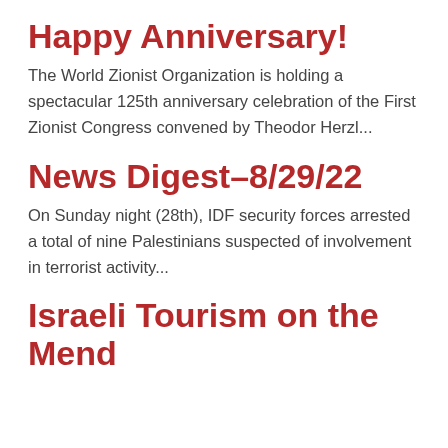Happy Anniversary!
The World Zionist Organization is holding a spectacular 125th anniversary celebration of the First Zionist Congress convened by Theodor Herzl...
News Digest–8/29/22
On Sunday night (28th), IDF security forces arrested a total of nine Palestinians suspected of involvement in terrorist activity...
Israeli Tourism on the Mend